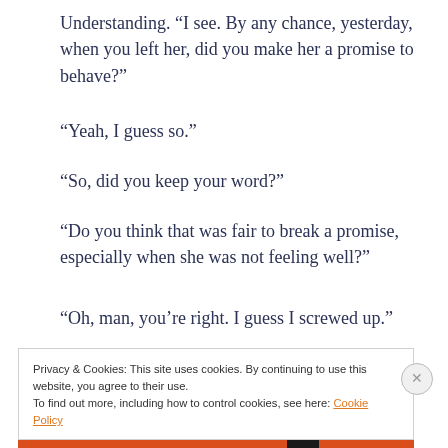Understanding. “I see. By any chance, yesterday, when you left her, did you make her a promise to behave?”
“Yeah, I guess so.”
“So, did you keep your word?”
“Do you think that was fair to break a promise, especially when she was not feeling well?”
“Oh, man, you’re right. I guess I screwed up.”
Privacy & Cookies: This site uses cookies. By continuing to use this website, you agree to their use.
To find out more, including how to control cookies, see here: Cookie Policy